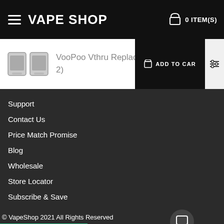VAPE SHOP  0 ITEM(S)
VooPoo Vthru Replacement Pods (Pack of 2)
Support
Contact Us
Price Match Promise
Blog
Wholesale
Store Locator
Subscribe & Save
© VapeShop 2021 All Rights Reserved
Vape Shop Rewards